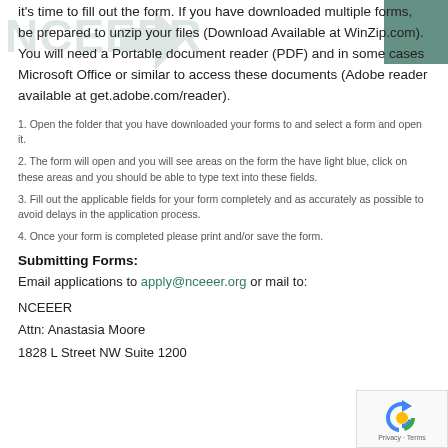it's time to fill out the form. If you have downloaded multiple forms, be prepared to unzip your files (Download Available at WinZip.com). You will need a Portable document reader (PDF) and in some cases Microsoft Office or similar to access these documents (Adobe reader available at get.adobe.com/reader).
1. Open the folder that you have downloaded your forms to and select a form and open it.
2. The form will open and you will see areas on the form the have light blue, click on these areas and you should be able to type text into these fields.
3. Fill out the applicable fields for your form completely and as accurately as possible to avoid delays in the application process.
4. Once your form is completed please print and/or save the form.
Submitting Forms:
Email applications to apply@nceeer.org or mail to:
NCEEER
Attn: Anastasia Moore
1828 L Street NW Suite 1200